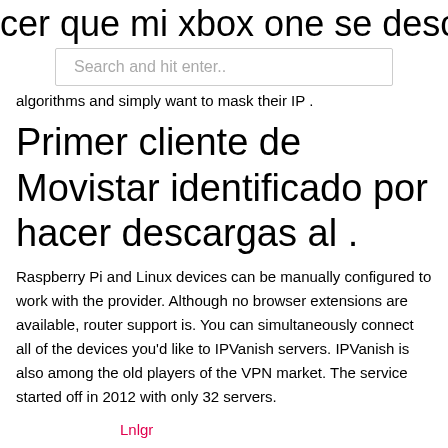cer que mi xbox one se descargue m
[Figure (screenshot): Search bar with placeholder text 'Search and hit enter..']
algorithms and simply want to mask their IP .
Primer cliente de Movistar identificado por hacer descargas al .
Raspberry Pi and Linux devices can be manually configured to work with the provider. Although no browser extensions are available, router support is. You can simultaneously connect all of the devices you'd like to IPVanish servers. IPVanish is also among the old players of the VPN market. The service started off in 2012 with only 32 servers.
Lnlgr
kodi build 2021 más popular
caja de android completamente cargada reino unido